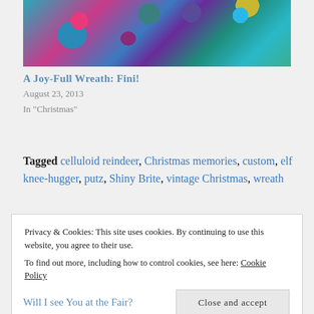[Figure (photo): Colorful Christmas ornaments and decorative balls in teal, pink, magenta, purple, and blue colors arranged in a wreath-style cluster]
A Joy-Full Wreath: Fini!
August 23, 2013
In "Christmas"
Tagged celluloid reindeer, Christmas memories, custom, elf knee-hugger, putz, Shiny Brite, vintage Christmas, wreath
Privacy & Cookies: This site uses cookies. By continuing to use this website, you agree to their use.
To find out more, including how to control cookies, see here: Cookie Policy
Close and accept
Will I see You at the Fair?